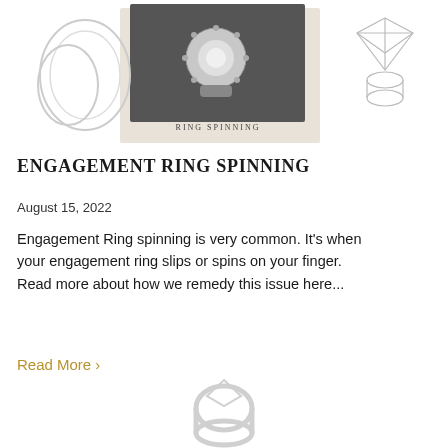[Figure (photo): Hero image showing an engagement ring with diamond halo in a beige/cream toned card, surrounded by additional silver ring illustrations and a diamond ring outline sketch. Text 'RING SPINNING' overlaid in spaced serif caps.]
ENGAGEMENT RING SPINNING
August 15, 2022
Engagement Ring spinning is very common. It's when your engagement ring slips or spins on your finger. Read more about how we remedy this issue here...
Read More >
[Figure (photo): Partial bottom image showing a diamond ring, faded/cropped at the bottom of the page.]